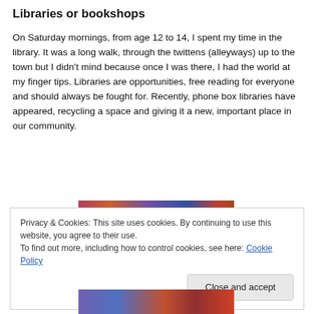Libraries or bookshops
On Saturday mornings, from age 12 to 14, I spent my time in the library. It was a long walk, through the twittens (alleyways) up to the town but I didn't mind because once I was there, I had the world at my finger tips. Libraries are opportunities, free reading for everyone and should always be fought for. Recently, phone box libraries have appeared, recycling a space and giving it a new, important place in our community.
[Figure (photo): Colorful books on shelves, partial photo strip at top]
Privacy & Cookies: This site uses cookies. By continuing to use this website, you agree to their use.
To find out more, including how to control cookies, see here: Cookie Policy
[Figure (photo): Colorful books on shelves, partial photo strip at bottom]